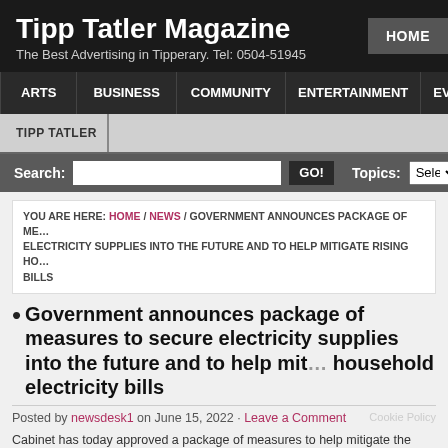Tipp Tatler Magazine
The Best Advertising in Tipperary. Tel: 0504-51945
HOME
ARTS | BUSINESS | COMMUNITY | ENTERTAINMENT | EVENTS
TIPP TATLER
Search: [input] GO! Topics: Select
YOU ARE HERE: HOME / NEWS / GOVERNMENT ANNOUNCES PACKAGE OF MEASURES TO SECURE ELECTRICITY SUPPLIES INTO THE FUTURE AND TO HELP MITIGATE RISING HOUSEHOLD ELECTRICITY BILLS
Government announces package of measures to secure electricity supplies into the future and to help mitigate rising household electricity bills
Posted by newsdesk1 on June 15, 2022 · Leave a Comment
Cabinet has today approved a package of measures to help mitigate the rising co... and to ensure secure supplies to electricity for households and business across I... years.